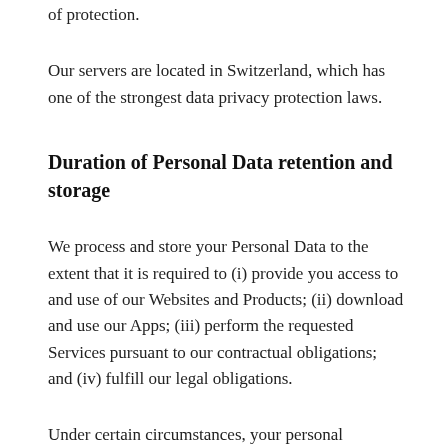of protection.
Our servers are located in Switzerland, which has one of the strongest data privacy protection laws.
Duration of Personal Data retention and storage
We process and store your Personal Data to the extent that it is required to (i) provide you access to and use of our Websites and Products; (ii) download and use our Apps; (iii) perform the requested Services pursuant to our contractual obligations; and (iv) fulfill our legal obligations.
Under certain circumstances, your personal information will be securely stored and isolated from any further processing until deletion is possible. For example, when we have a